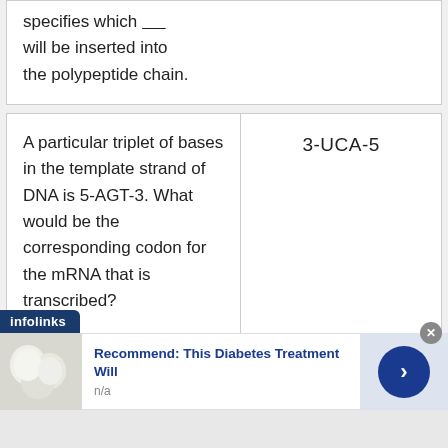| specifies which _____ will be inserted into the polypeptide chain. |  |
| A particular triplet of bases in the template strand of DNA is 5-AGT-3. What would be the corresponding codon for the mRNA that is transcribed? | 3-UCA-5 |